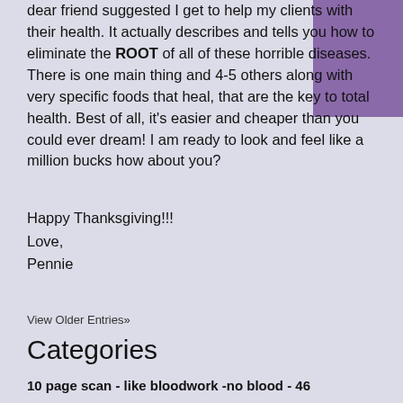dear friend suggested I get to help my clients with their health.  It actually describes and tells you how to eliminate the ROOT of all of these horrible diseases.  There is one main thing and 4-5 others along with very specific foods that heal, that are the key to total health.  Best of all, it's easier and cheaper than you could ever dream!  I am ready to look and feel like a million bucks how about you?
Happy Thanksgiving!!!
Love,
Pennie
View Older Entries»
Categories
10 page scan - like bloodwork -no blood - 46